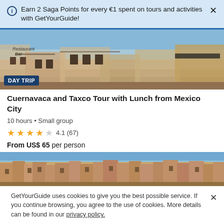Earn 2 Saga Points for every €1 spent on tours and activities with GetYourGuide!
[Figure (photo): Exterior of a Mexican building with balcony, restaurant bar sign, colonial architecture]
Cuernavaca and Taxco Tour with Lunch from Mexico City
10 hours • Small group
4.1 (67)
From US$ 65 per person
[Figure (photo): Aerial view of a hillside Mexican town with dense colonial buildings]
GetYourGuide uses cookies to give you the best possible service. If you continue browsing, you agree to the use of cookies. More details can be found in our privacy policy.